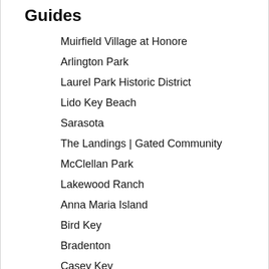Guides
Muirfield Village at Honore
Arlington Park
Laurel Park Historic District
Lido Key Beach
Sarasota
The Landings | Gated Community
McClellan Park
Lakewood Ranch
Anna Maria Island
Bird Key
Bradenton
Casey Key
Lido Key and St. Armands Circle